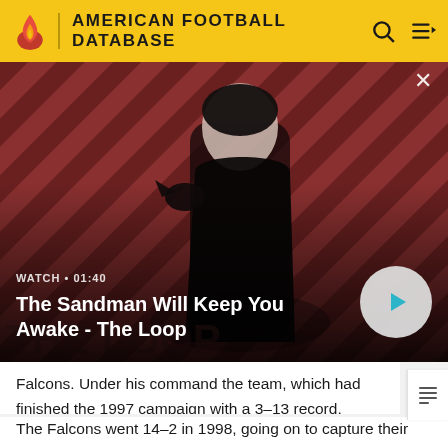AMERICAN FOOTBALL DATABASE
[Figure (screenshot): Promotional video thumbnail for 'The Sandman Will Keep You Awake - The Loop'. A pale dark-haired man in a black coat stands in front of a red and black diagonal-stripe background with a black bird on his shoulder. The Loop logo is visible in the lower-left. A play button overlay is shown at bottom right.]
WATCH • 01:40
The Sandman Will Keep You Awake - The Loop
Falcons. Under his command the team, which had finished the 1997 campaign with a 3–13 record, steadily improved. After going 7–9 his first season, Reeves took Atlanta to the greatest season in franchise history.
The Falcons went 14–2 in 1998, going on to capture their